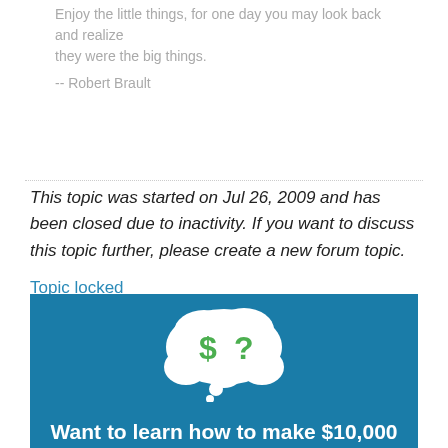Enjoy the little things, for one day you may look back and realize
they were the big things.

-- Robert Brault
This topic was started on Jul 26, 2009 and has been closed due to inactivity. If you want to discuss this topic further, please create a new forum topic.
Topic locked
[Figure (illustration): Blue banner advertisement with a white thought bubble containing a green dollar sign and question mark, with text 'Want to learn how to make $10,000']